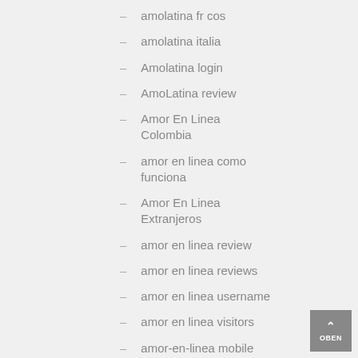amolatina fr cos
amolatina italia
Amolatina login
AmoLatina review
Amor En Linea Colombia
amor en linea como funciona
Amor En Linea Extranjeros
amor en linea review
amor en linea reviews
amor en linea username
amor en linea visitors
amor-en-linea mobile